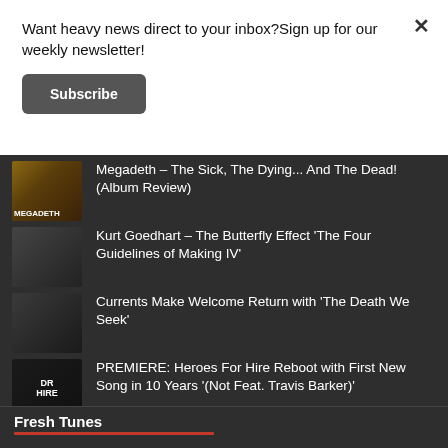Want heavy news direct to your inbox?Sign up for our weekly newsletter!
Subscribe
Megadeth – The Sick, The Dying... And The Dead! (Album Review)
Kurt Goedhart – The Butterfly Effect 'The Four Guidelines of Making IV'
Currents Make Welcome Return with 'The Death We Seek'
PREMIERE: Heroes For Hire Reboot with First New Song in 10 Years '(Not Feat. Travis Barker)'
Fresh Tunes